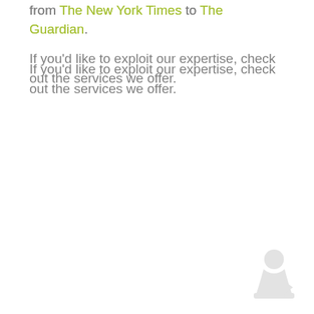from The New York Times to The Guardian.
If you'd like to exploit our expertise, check out the services we offer.
[Figure (illustration): Faint watermark-style logo or icon in the bottom-right corner, light gray, depicting a stylized figure or chess piece shape.]